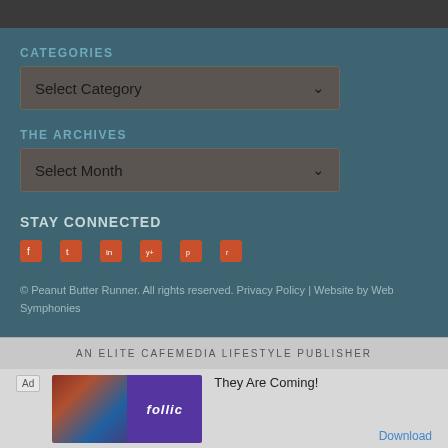CATEGORIES
Select Category
THE ARCHIVES
Select Month
STAY CONNECTED
[Figure (other): Social media icon links row with 6 orange/red square icons]
© Peanut Butter Runner. All rights reserved. Privacy Policy | Website by Web Symphonies
AN ELITE CAFEMEDIA LIFESTYLE PUBLISHER
[Figure (other): Advertisement banner: Ad label, game image with follic branding, text They Are Coming!, Download button]